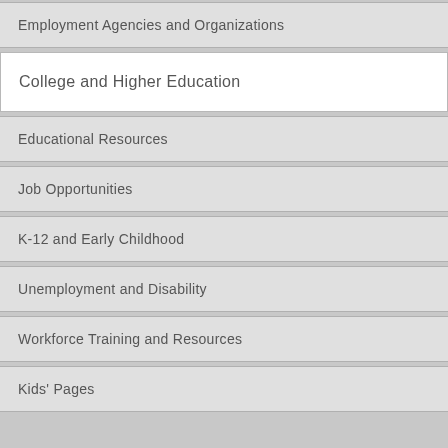Employment Agencies and Organizations
College and Higher Education
Educational Resources
Job Opportunities
K-12 and Early Childhood
Unemployment and Disability
Workforce Training and Resources
Kids' Pages